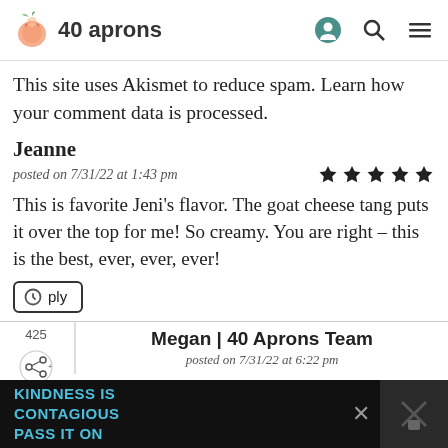40 aprons
This site uses Akismet to reduce spam. Learn how your comment data is processed.
Jeanne
posted on 7/31/22 at 1:43 pm
This is favorite Jeni's flavor. The goat cheese tang puts it over the top for me! So creamy. You are right – this is the best, ever, ever, ever!
Megan | 40 Aprons Team
posted on 7/31/22 at 6:22 pm
KINDNESS IS CONTAGIOUS PASS IT ON